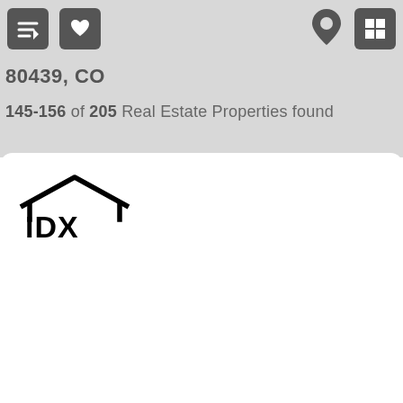[Figure (screenshot): Top toolbar with sort icon button (down-arrow with lines), heart/favorites icon button, map pin icon, and grid view icon button on a light gray background]
80439, CO
145-156 of 205 Real Estate Properties found
[Figure (logo): IDX logo: house roofline above bold text IDX]